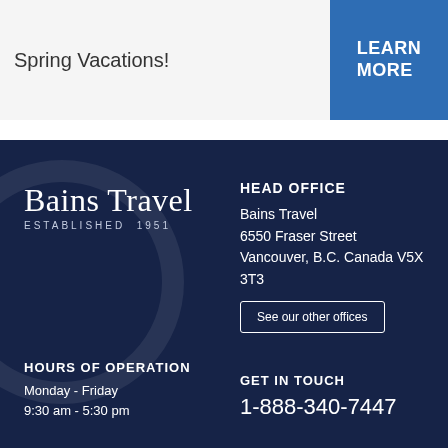Spring Vacations!
LEARN MORE
[Figure (logo): Bains Travel logo with text 'Bains Travel' and 'ESTABLISHED 1951']
HEAD OFFICE
Bains Travel
6550 Fraser Street
Vancouver, B.C. Canada V5X 3T3
See our other offices
HOURS OF OPERATION
Monday - Friday
9:30 am - 5:30 pm
GET IN TOUCH
1-888-340-7447